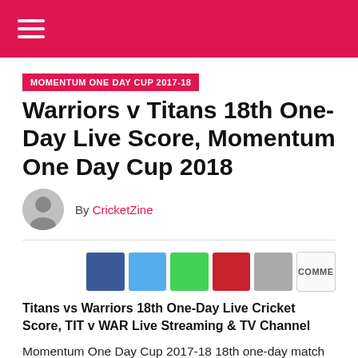MENU / Navigation header bar
MOMENTUM ONE DAY CUP 2017-18
Warriors v Titans 18th One-Day Live Score, Momentum One Day Cup 2018
By CricketZine
[Figure (other): Social share buttons: Facebook, Twitter, WhatsApp, Pinterest, Email, Comments]
Titans vs Warriors 18th One-Day Live Cricket Score, TIT v WAR Live Streaming & TV Channel
Momentum One Day Cup 2017-18 18th one-day match between Dolphins v Knights on January 14, 2018 at Buffalo Park, East London; the match starts at 11:30 AM GMT